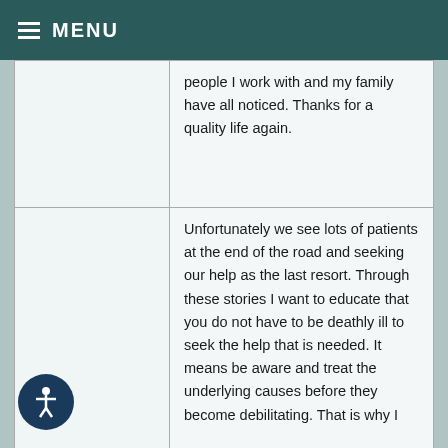MENU
people I work with and my family have all noticed. Thanks for a quality life again.
Unfortunately we see lots of patients at the end of the road and seeking our help as the last resort. Through these stories I want to educate that you do not have to be deathly ill to seek the help that is needed. It means be aware and treat the underlying causes before they become debilitating. That is why I